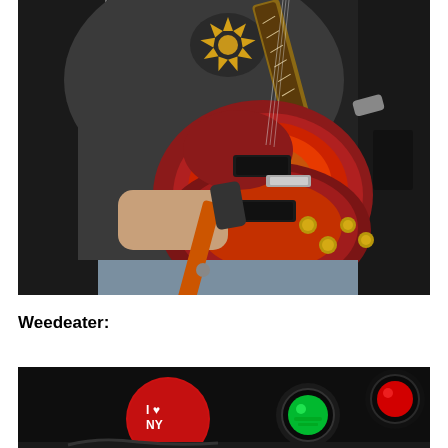[Figure (photo): A person in a dark t-shirt with a yellow sunburst graphic holding a cherry sunburst Les Paul style electric guitar. The guitar is red-orange with gold hardware and black pickups. The background is dark.]
Weedeater:
[Figure (photo): A dark stage photo showing a red round object with 'I Love NY' text, a green traffic/stage light, and a red traffic/stage light on the right.]